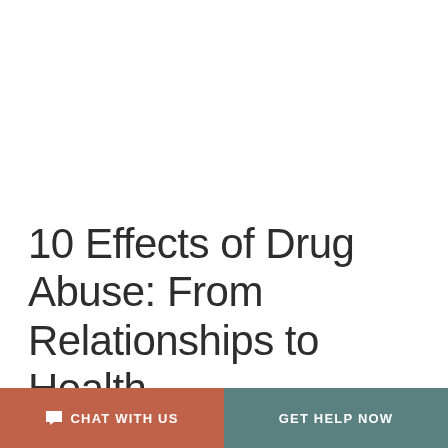10 Effects of Drug Abuse: From Relationships to Health
February 22, 2022 / By Promises Behavioral Health Editorial Team / addiction, addiction treatment programs, Relationships
CHAT WITH US | GET HELP NOW